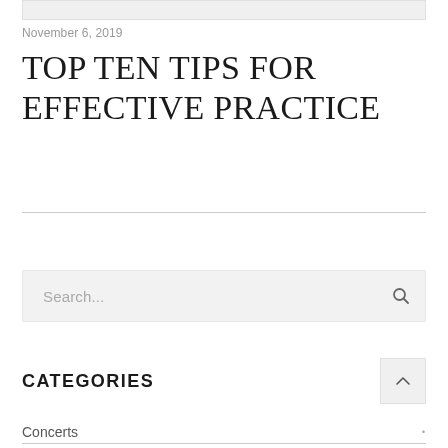November 6, 2019
TOP TEN TIPS FOR EFFECTIVE PRACTICE
CATEGORIES
Concerts